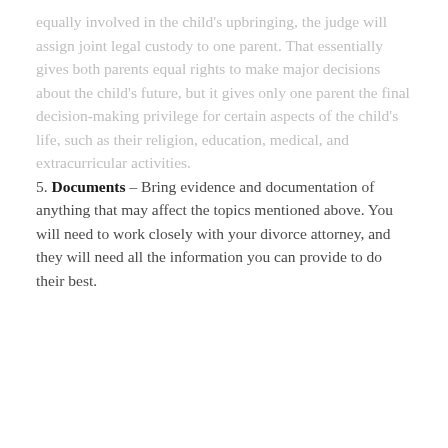equally involved in the child's upbringing, the judge will assign joint legal custody to one parent. That essentially gives both parents equal rights to make major decisions about the child's future, but it gives only one parent the final decision-making privilege for certain aspects of the child's life, such as their religion, education, medical, and extracurricular activities.
5. Documents – Bring evidence and documentation of anything that may affect the topics mentioned above. You will need to work closely with your divorce attorney, and they will need all the information you can provide to do their best.